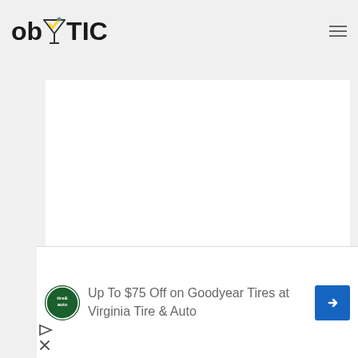ob TIC
[Figure (other): White rectangle placeholder/image area in the content card]
We mentioned healthy earlier… that may be a big of an exaggeration, but still this cake has much more going for it from the use of the Cricket Flour. Straight away it bumps up the protein content, adds all of
[Figure (other): Advertisement banner: Up To $75 Off on Goodyear Tires at Virginia Tire & Auto, with Tire & Auto circular logo and blue navigation arrow icon]